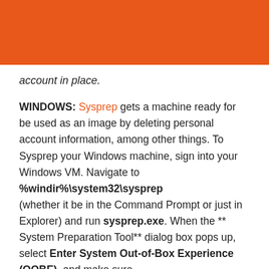[Figure (other): Orange banner/header bar at top of page]
account in place.
WINDOWS: Sysprep gets a machine ready for be used as an image by deleting personal account information, among other things. To Sysprep your Windows machine, sign into your Windows VM. Navigate to %windir%\system32\sysprep (whether it be in the Command Prompt or just in Explorer) and run sysprep.exe. When the ** System Preparation Tool** dialog box pops up, select Enter System Out-of-Box Experience (OOBE), and make sure